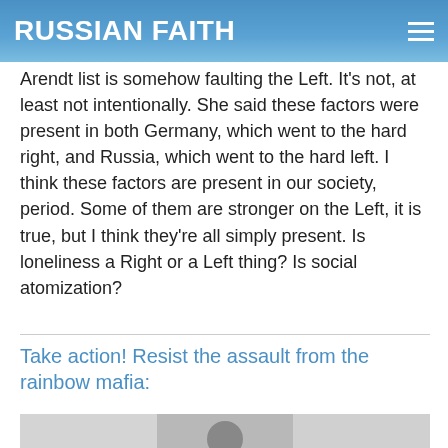RUSSIAN FAITH
Arendt list is somehow faulting the Left. It’s not, at least not intentionally. She said these factors were present in both Germany, which went to the hard right, and Russia, which went to the hard left. I think these factors are present in our society, period. Some of them are stronger on the Left, it is true, but I think they’re all simply present. Is loneliness a Right or a Left thing? Is social atomization?
Take action! Resist the assault from the rainbow mafia:
[Figure (photo): People wearing rainbow-themed clothing at what appears to be a pride event or related gathering.]